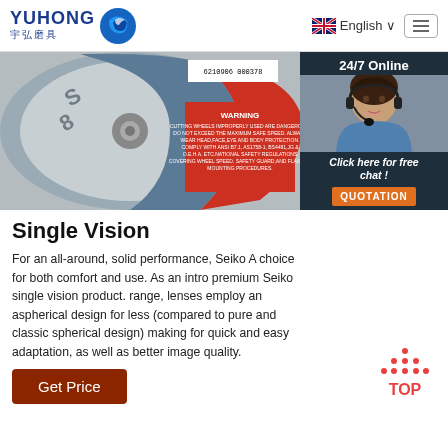[Figure (logo): Yuhong 宇弘磨具 logo with blue wave icon]
English ∨
[Figure (photo): Partial view of a grinding/cutting wheel with red label showing WARNING text and barcode]
[Figure (photo): Customer service representative with headset, 24/7 Online badge, Click here for free chat!, QUOTATION button]
Single Vision
For an all-around, solid performance, Seiko A choice for both comfort and use. As an intro premium Seiko single vision product. range, lenses employ an aspherical design for less (compared to pure and classic spherical design) making for quick and easy adaptation, as well as better image quality.
Get Price